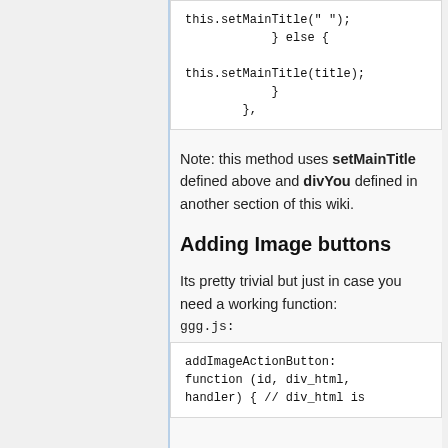[Figure (screenshot): Code block showing this.setMainTitle(' '); } else { this.setMainTitle(title); } },]
Note: this method uses setMainTitle defined above and divYou defined in another section of this wiki.
Adding Image buttons
Its pretty trivial but just in case you need a working function:
ggg.js:
[Figure (screenshot): Code block showing addImageActionButton: function (id, div_html, handler) { // div_html is]